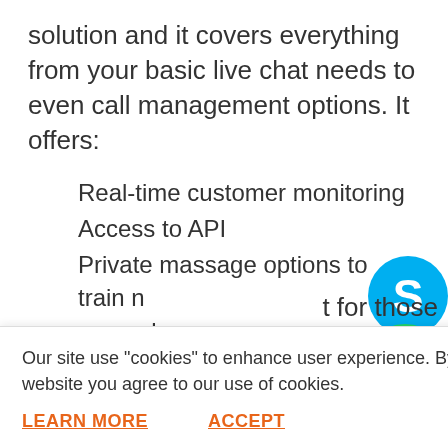solution and it covers everything from your basic live chat needs to even call management options. It offers:
Real-time customer monitoring
Access to API
Private massage options to train new employees
Easily transferable chats
t for those
wledge base
hrough a
[Figure (logo): Skype logo - blue circle with white S]
[Figure (logo): WhatsApp logo - green circle with white phone icon]
Our site use “cookies” to enhance user experience. By continuing to visit this website you agree to our use of cookies.
LEARN MORE
ACCEPT